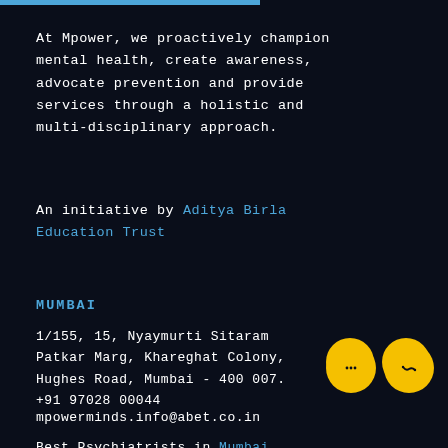At Mpower, we proactively champion mental health, create awareness, advocate prevention and provide services through a holistic and multi-disciplinary approach.
An initiative by Aditya Birla Education Trust
MUMBAI
1/155, 15, Nyaymurti Sitaram Patkar Marg, Khareghat Colony, Hughes Road, Mumbai - 400 007.
+91 97028 00044
mpowerminds.info@abet.co.in
Best Psychiatrists in Mumbai